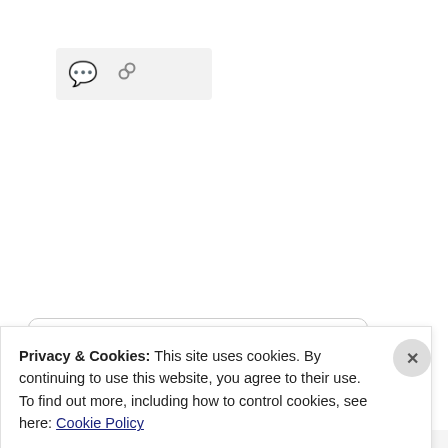[Figure (screenshot): Toolbar with comment bubble icon and link/chain icon on a light gray background]
[Figure (screenshot): Partially visible card with bold heading text starting with 'T' (truncated)]
Privacy & Cookies: This site uses cookies. By continuing to use this website, you agree to their use.
To find out more, including how to control cookies, see here: Cookie Policy
Close and accept